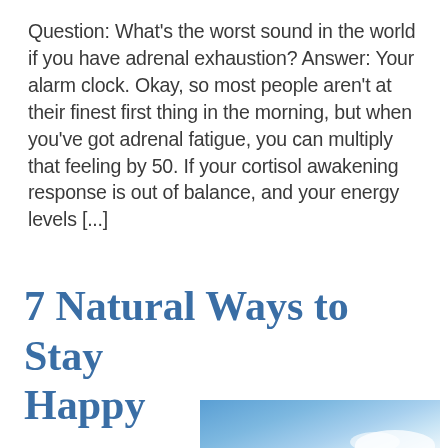Question: What's the worst sound in the world if you have adrenal exhaustion? Answer: Your alarm clock. Okay, so most people aren't at their finest first thing in the morning, but when you've got adrenal fatigue, you can multiply that feeling by 50. If your cortisol awakening response is out of balance, and your energy levels [...]
7 Natural Ways to Stay Happy
[Figure (photo): Photo of a blue sky with white clouds, partially visible at the bottom of the page]